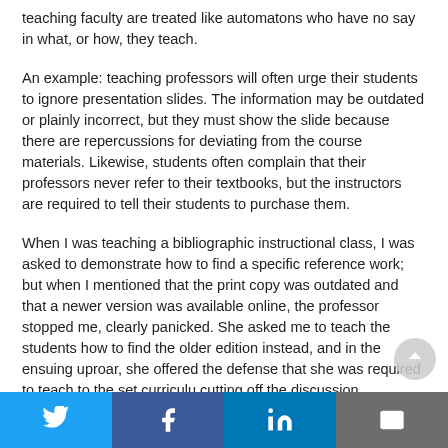teaching faculty are treated like automatons who have no say in what, or how, they teach.
An example: teaching professors will often urge their students to ignore presentation slides. The information may be outdated or plainly incorrect, but they must show the slide because there are repercussions for deviating from the course materials. Likewise, students often complain that their professors never refer to their textbooks, but the instructors are required to tell their students to purchase them.
When I was teaching a bibliographic instructional class, I was asked to demonstrate how to find a specific reference work; but when I mentioned that the print copy was outdated and that a newer version was available online, the professor stopped me, clearly panicked. She asked me to teach the students how to find the older edition instead, and in the ensuing uproar, she offered the defense that she was required to teach to the set curriculum, cutting off the discussion.
Twitter | Facebook | LinkedIn | Email